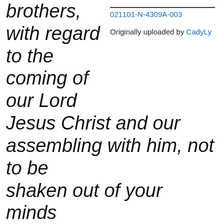brothers, with regard to the coming of our Lord Jesus Christ and our assembling with him, not to be shaken out of your minds suddenly, or to be alarmed either by a “spirit,” or by an oral statement, or by a letter allegedly from us to the effect that the day of the Lord is at
021101-N-4309A-003
Originally uploaded by CadyLy